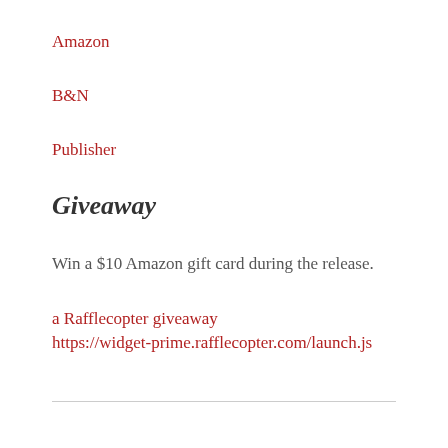Amazon
B&N
Publisher
Giveaway
Win a $10 Amazon gift card during the release.
a Rafflecopter giveaway
https://widget-prime.rafflecopter.com/launch.js